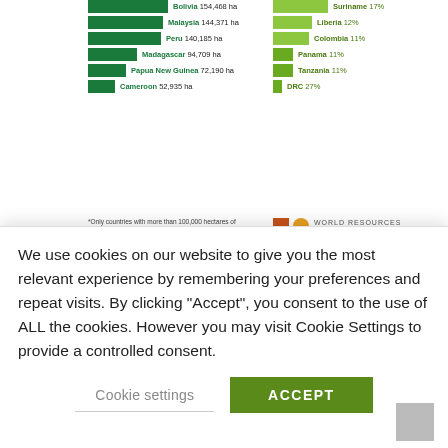[Figure (bar-chart): Primary forest loss by country]
*Only countries with more than 100,000 hectares of primary forest included
[Figure (logo): World Resources Institute logo]
Ghanian NGOs:
Press Release
We use cookies on our website to give you the most relevant experience by remembering your preferences and repeat visits. By clicking “Accept”, you consent to the use of ALL the cookies. However you may visit Cookie Settings to provide a controlled consent.